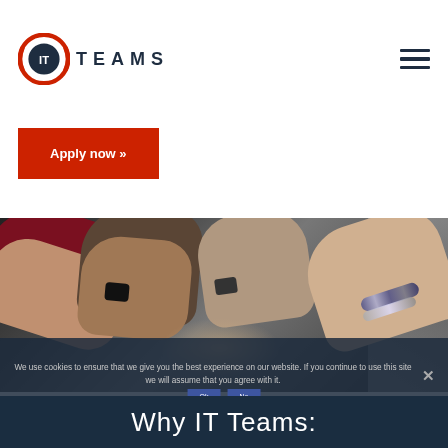IT TEAMS
Apply now »
[Figure (photo): Multiple people doing a fist bump together, team collaboration photo with dark moody background]
We use cookies to ensure that we give you the best experience on our website. If you continue to use this site we will assume that you agree with it.
Why IT Teams: